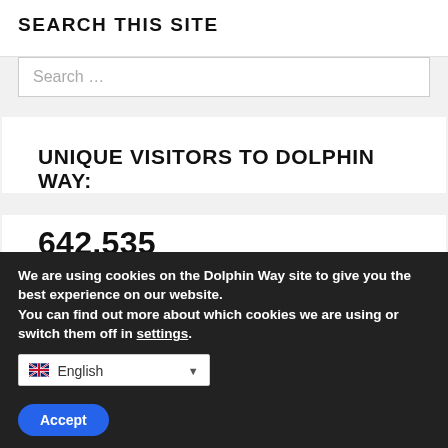SEARCH THIS SITE
Search ...
UNIQUE VISITORS TO DOLPHIN WAY:
642,535
We are using cookies on the Dolphin Way site to give you the best experience on our website.
You can find out more about which cookies we are using or switch them off in settings.
English
Accept